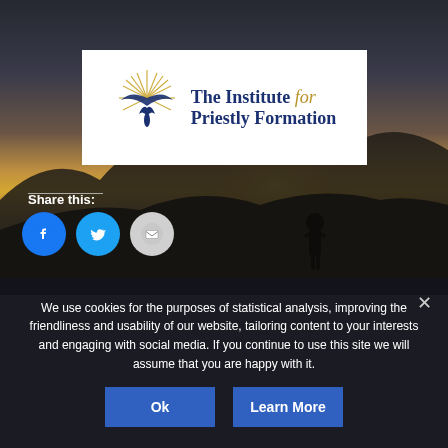[Figure (photo): Dark dramatic sky background with silhouette of a person standing on a cliff at sunset/sunrise, mountainous landscape below]
[Figure (logo): The Institute for Priestly Formation logo with stylized dove/spirit symbol in gold and blue, text in navy blue serif font with 'for' in gold italic]
Share this:
[Figure (infographic): Three social sharing buttons: Facebook (blue circle with f icon), Twitter (blue circle with bird icon), Email (gray circle with envelope icon)]
We use cookies for the purposes of statistical analysis, improving the friendliness and usability of our website, tailoring content to your interests and engaging with social media. If you continue to use this site we will assume that you are happy with it.
Ok
Learn More